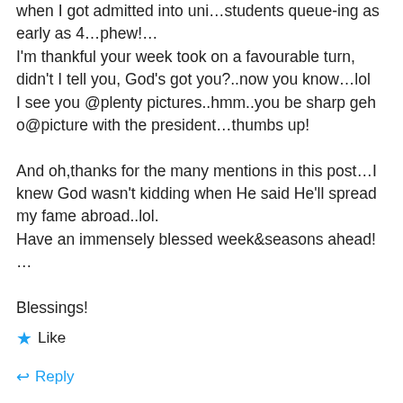when I got admitted into uni…students queue-ing as early as 4…phew!…
I'm thankful your week took on a favourable turn, didn't I tell you, God's got you?..now you know…lol
I see you @plenty pictures..hmm..you be sharp geh o@picture with the president…thumbs up!

And oh,thanks for the many mentions in this post…I knew God wasn't kidding when He said He'll spread my fame abroad..lol.
Have an immensely blessed week&seasons ahead! …

Blessings!
★ Like
↩ Reply